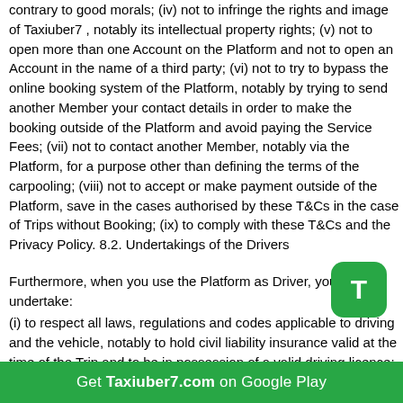contrary to good morals; (iv) not to infringe the rights and image of Taxiuber7 , notably its intellectual property rights; (v) not to open more than one Account on the Platform and not to open an Account in the name of a third party; (vi) not to try to bypass the online booking system of the Platform, notably by trying to send another Member your contact details in order to make the booking outside of the Platform and avoid paying the Service Fees; (vii) not to contact another Member, notably via the Platform, for a purpose other than defining the terms of the carpooling; (viii) not to accept or make payment outside of the Platform, save in the cases authorised by these T&Cs in the case of Trips without Booking; (ix) to comply with these T&Cs and the Privacy Policy. 8.2. Undertakings of the Drivers
Furthermore, when you use the Platform as Driver, you undertake:
(i) to respect all laws, regulations and codes applicable to driving and the vehicle, notably to hold civil liability insurance valid at the time of the Trip and to be in possession of a valid driving licence; (ii) to check that your insurance covers carpooling and that your Passengers are considered as third parties in your vehicle and are therefore covered by your insurance during the whole Trip, even if cross-border; (iii) not to take any risk when driving, not to take any action liable to impair your concentration and your abilities to drive vigilantly and completely safely; (iv) to post Adverts corresponding